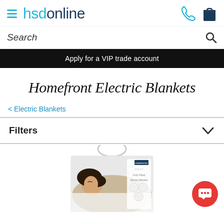hsdonline
Search
Apply for a VIP trade account
Homefront Electric Blankets
< Electric Blankets
Filters
[Figure (photo): Product packaging image of Homefront Luxury Fully Fitted Electric Blanket showing a woman sleeping on white bedding, with packaging details visible]